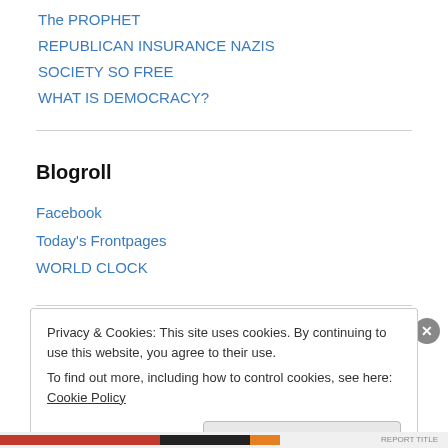The PROPHET
REPUBLICAN INSURANCE NAZIS
SOCIETY SO FREE
WHAT IS DEMOCRACY?
Blogroll
Facebook
Today's Frontpages
WORLD CLOCK
Privacy & Cookies: This site uses cookies. By continuing to use this website, you agree to their use. To find out more, including how to control cookies, see here: Cookie Policy
Close and accept